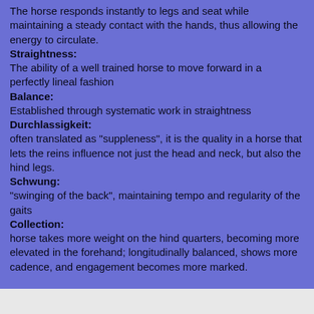The horse responds instantly to legs and seat while maintaining a steady contact with the hands, thus allowing the energy to circulate.
Straightness:
The ability of a well trained horse to move forward in a perfectly lineal fashion
Balance:
Established through systematic work in straightness
Durchlassigkeit:
often translated as "suppleness", it is the quality in a horse that lets the reins influence not just the head and neck, but also the hind legs.
Schwung:
"swinging of the back", maintaining tempo and regularity of the gaits
Collection:
horse takes more weight on the hind quarters, becoming more elevated in the forehand; longitudinally balanced, shows more cadence, and engagement becomes more marked.